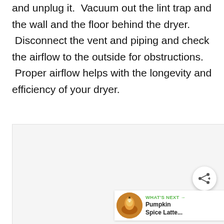and unplug it.  Vacuum out the lint trap and the wall and the floor behind the dryer.  Disconnect the vent and piping and check the airflow to the outside for obstructions.  Proper airflow helps with the longevity and efficiency of your dryer.
[Figure (other): Advertisement or content placeholder box with share button and 'What's Next' widget showing Pumpkin Spice Latte article]